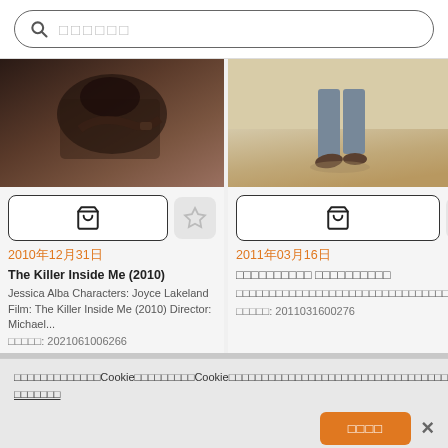（search placeholder text）
[Figure (photo): Movie still - dark intimate scene]
[Figure (photo): Person walking on sandy/dusty ground, lower body visible]
2010年12月31日
2011年03月16日
The Killer Inside Me (2010)
（Japanese title text）
Jessica Alba Characters: Joyce Lakeland Film: The Killer Inside Me (2010) Director: Michael...
（Japanese description text）
（Japanese）: 2021061006266
（Japanese）: 2011031600276
（Cookie consent notice in Japanese）Cookie（Japanese text）Cookie（Japanese text）Cookie（Japanese text） （Japanese link text）
（Japanese accept button text）